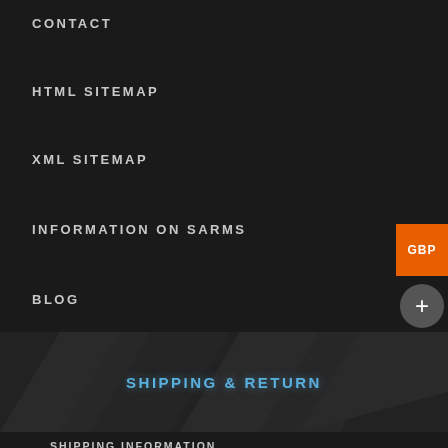CONTACT
HTML SITEMAP
XML SITEMAP
INFORMATION ON SARMS
BLOG
SHIPPING & RETURN
SHIPPING INFORMATION
ORDER TRACKING